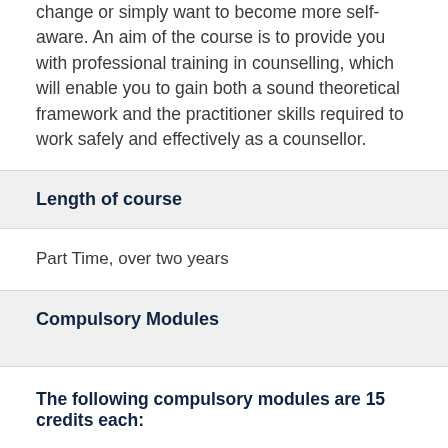change or simply want to become more self-aware. An aim of the course is to provide you with professional training in counselling, which will enable you to gain both a sound theoretical framework and the practitioner skills required to work safely and effectively as a counsellor.
Length of course
Part Time, over two years
Compulsory Modules
The following compulsory modules are 15 credits each: